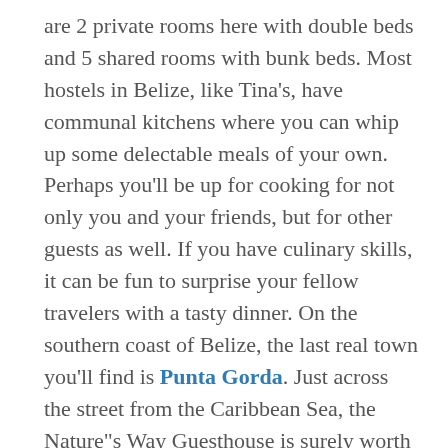are 2 private rooms here with double beds and 5 shared rooms with bunk beds. Most hostels in Belize, like Tina's, have communal kitchens where you can whip up some delectable meals of your own. Perhaps you'll be up for cooking for not only you and your friends, but for other guests as well. If you have culinary skills, it can be fun to surprise your fellow travelers with a tasty dinner. On the southern coast of Belize, the last real town you'll find is Punta Gorda. Just across the street from the Caribbean Sea, the Nature"s Way Guesthouse is surely worth considering among the Punta Gorda hotels. There are different room options to choose from here, and the owner is quite knowledgeable about the area and the country. These coastal hostels in Belize, and most hostels in Belize in general, will be able to hook you up with all kinds of fun tours and activities, such as hiking, scuba diving, fishing, and sailing, so you'll save not only money by staying at one, but time as well as you won't have to go searching about for a tour company.